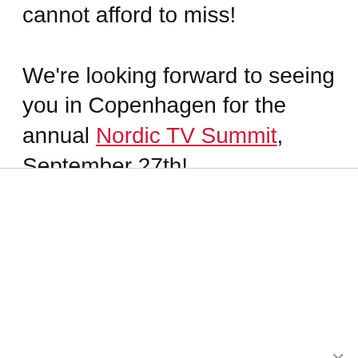cannot afford to miss!

We're looking forward to seeing you in Copenhagen for the annual Nordic TV Summit, September 27th!
This website stores cookies on your computer. These cookies are used to collect information about how you interact with our website and allow us to remember you. We use this information in order to improve and customize your browsing experience and for analytics and metrics about our visitors both on this website and other media. To find out more about the cookies we use, see our Privacy Policy